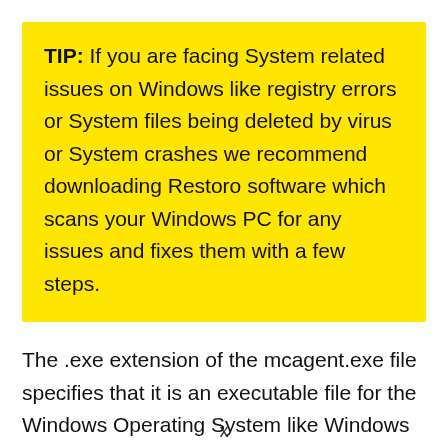TIP: If you are facing System related issues on Windows like registry errors or System files being deleted by virus or System crashes we recommend downloading Restoro software which scans your Windows PC for any issues and fixes them with a few steps.
The .exe extension of the mcagent.exe file specifies that it is an executable file for the Windows Operating System like Windows XP, Windows 7, Windows 8, and Windows 10.